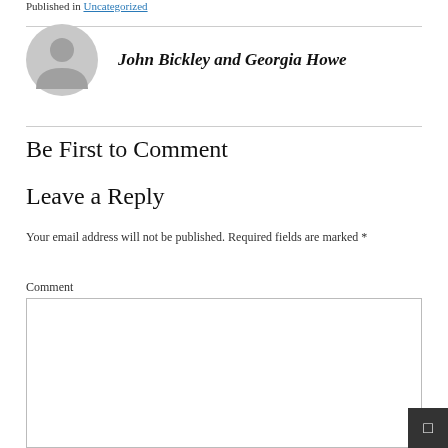Published in Uncategorized
[Figure (illustration): Gray circular avatar/profile icon with a silhouette of a person]
John Bickley and Georgia Howe
Be First to Comment
Leave a Reply
Your email address will not be published. Required fields are marked *
Comment